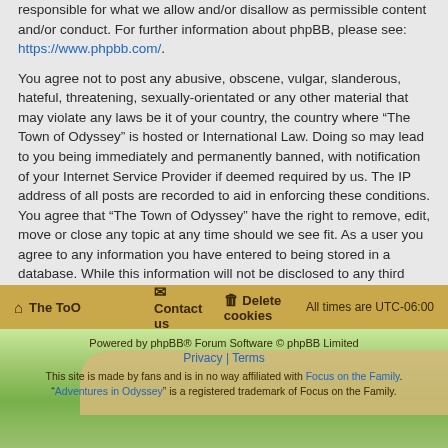responsible for what we allow and/or disallow as permissible content and/or conduct. For further information about phpBB, please see: https://www.phpbb.com/.
You agree not to post any abusive, obscene, vulgar, slanderous, hateful, threatening, sexually-orientated or any other material that may violate any laws be it of your country, the country where “The Town of Odyssey” is hosted or International Law. Doing so may lead to you being immediately and permanently banned, with notification of your Internet Service Provider if deemed required by us. The IP address of all posts are recorded to aid in enforcing these conditions. You agree that “The Town of Odyssey” have the right to remove, edit, move or close any topic at any time should we see fit. As a user you agree to any information you have entered to being stored in a database. While this information will not be disclosed to any third party without your consent, neither “The Town of Odyssey” nor phpBB shall be held responsible for any hacking attempt that may lead to the data being compromised.
The ToO | Contact us | Delete cookies | All times are UTC-06:00
Powered by phpBB® Forum Software © phpBB Limited | Privacy | Terms | This site is made by fans and is in no way affiliated with Focus on the Family. "Adventures in Odyssey" is a registered trademark of Focus on the Family.